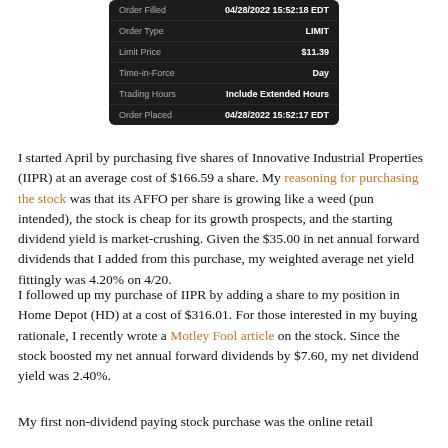| Field | Value |
| --- | --- |
| Order Filled | 04/28/2022 15:52:18 EDT |
| Order Type | LIMIT |
| Limit Price | $11.39 |
| Time-in-Force | Day |
| Trading Hours | Include Extended Hours |
| Order Placed | 04/28/2022 15:52:17 EDT |
I started April by purchasing five shares of Innovative Industrial Properties (IIPR) at an average cost of $166.59 a share. My reasoning for purchasing the stock was that its AFFO per share is growing like a weed (pun intended), the stock is cheap for its growth prospects, and the starting dividend yield is market-crushing. Given the $35.00 in net annual forward dividends that I added from this purchase, my weighted average net yield fittingly was 4.20% on 4/20.
I followed up my purchase of IIPR by adding a share to my position in Home Depot (HD) at a cost of $316.01. For those interested in my buying rationale, I recently wrote a Motley Fool article on the stock. Since the stock boosted my net annual forward dividends by $7.60, my net dividend yield was 2.40%.
My first non-dividend paying stock purchase was the online retail